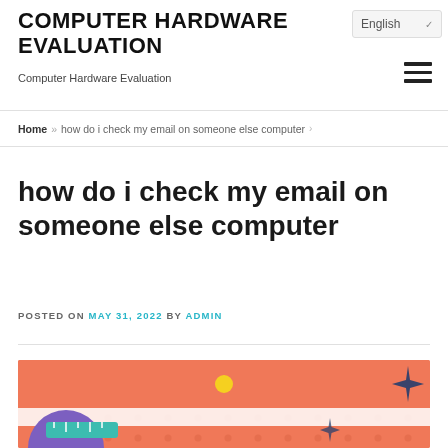COMPUTER HARDWARE EVALUATION
Computer Hardware Evaluation
English
Home » how do i check my email on someone else computer
how do i check my email on someone else computer
POSTED ON MAY 31, 2022 BY ADMIN
[Figure (illustration): Orange/coral background illustration with grid dots, purple semicircle, teal ruler, yellow circle, and sparkle star decorative elements]